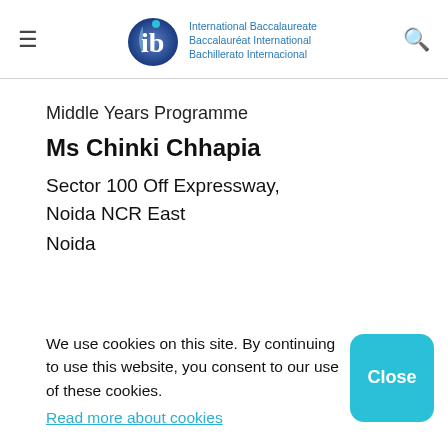International Baccalaureate Baccalauréat International Bachillerato Internacional
Middle Years Programme
Ms Chinki Chhapia
Sector 100 Off Expressway,
Noida NCR East
Noida
We use cookies on this site. By continuing to use this website, you consent to our use of these cookies. Read more about cookies